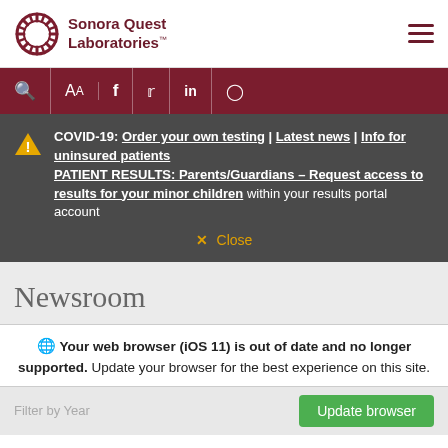[Figure (logo): Sonora Quest Laboratories logo with circular sunburst icon and dark red text]
Sonora Quest Laboratories
COVID-19: Order your own testing | Latest news | Info for uninsured patients
PATIENT RESULTS: Parents/Guardians – Request access to results for your minor children within your results portal account
✕ Close
Newsroom
Your web browser (iOS 11) is out of date and no longer supported. Update your browser for the best experience on this site.
Update browser
Filter by Year